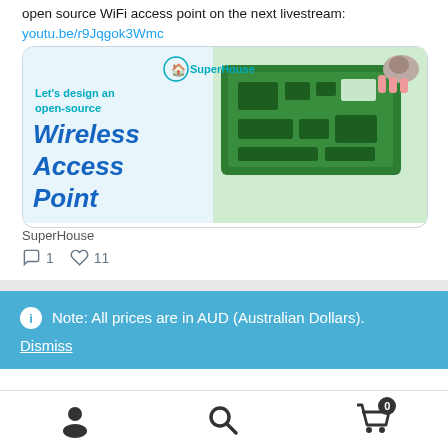open source WiFi access point on the next livestream: youtu.be/r9Jqgok3Wmc
[Figure (screenshot): Promotional image with text 'Let's design an open-source Wireless Access Point' with SuperHouse logo and a green PCB circuit board]
SuperHouse
1 comment, 11 likes
Note: All prices are in AUD (Australian Dollars). Dismiss
[Figure (infographic): Bottom navigation bar with person icon, search icon, and cart icon with badge showing 0]